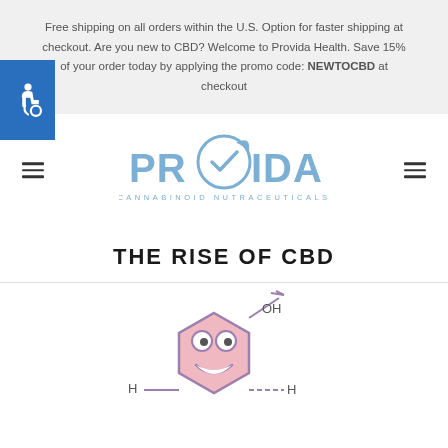Free shipping on all orders within the U.S. Option for faster shipping at checkout. Are you new to CBD? Welcome to Provida Health. Save 15% of your order today by applying the promo code: NEWTOCBD at checkout
[Figure (logo): Provida Cannabinoid Nutraceuticals logo — stylized PROVIDA text with a leaf-in-circle emblem replacing the O]
THE RISE OF CBD
[Figure (illustration): Cartoon illustration of a smiling CBD molecule character (hexagonal ring with eyes and smile) with chemical structure showing OH group and H atoms, pink/lavender coloring]